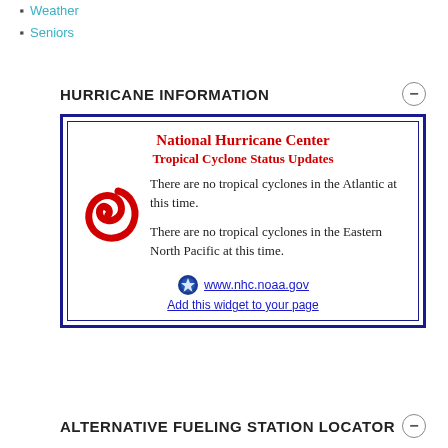Weather
Seniors
HURRICANE INFORMATION
[Figure (infographic): National Hurricane Center widget showing Tropical Cyclone Status Updates. Text states there are no tropical cyclones in the Atlantic at this time, and no tropical cyclones in the Eastern North Pacific at this time. Includes red hurricane icon, NOAA badge, and links to www.nhc.noaa.gov and Add this widget to your page.]
ALTERNATIVE FUELING STATION LOCATOR